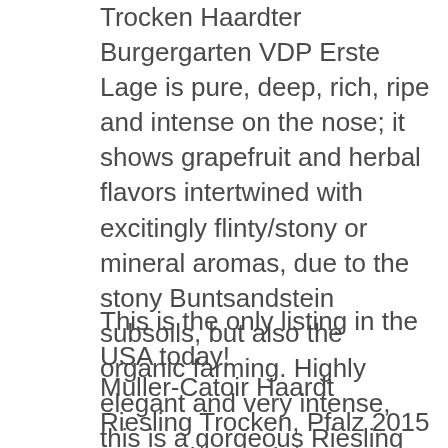Trocken Haardter Burgergarten VDP Erste Lage is pure, deep, rich, ripe and intense on the nose; it shows grapefruit and herbal flavors intertwined with excitingly flinty/stony or mineral aromas, due to the stony Buntsandstein subsoils, but also the organic farming. Highly elegant and very intense, this is a gorgeous Riesling with great intensity of both minerals and fruits. This is a super well-structured and transparent, dry Riesling of great elegance and expression. Its power comes only in the finish and is mixed with lots of stone salts. This is an extremely stimulating and great Riesling. Yield is 40 hectoliters per hectare.”
This is the only listing in the USA today!
Muller-Catoir Haardt Riesling Trocken, Pfalz 2015 750ML ($27.95) $21.90 special
Wine Advocate 92 points “The 2015 Pfalz Riesling Trocken Haardt has a deep and intense Riesling flavors